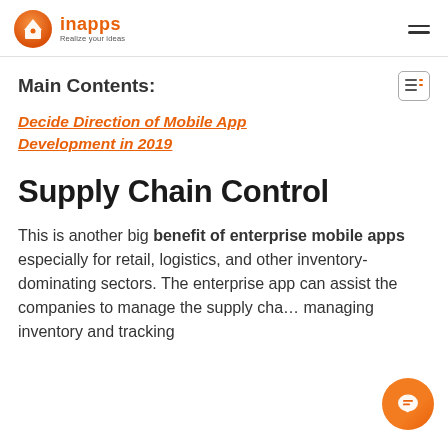InApps — Realize your ideas
Main Contents:
Decide Direction of Mobile App Development in 2019
Supply Chain Control
This is another big benefit of enterprise mobile apps especially for retail, logistics, and other inventory-dominating sectors. The enterprise app can assist the companies to manage the supply chain managing inventory and tracking